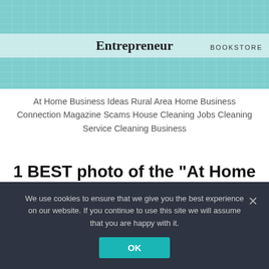[Figure (photo): Teal/turquoise grid-patterned book cover with 'Entrepreneur BOOKSTORE' text in dark font on a light banner across the middle. Top of the cover partially visible.]
At Home Business Ideas Rural Area Home Business Connection Magazine Scams House Cleaning Jobs Cleaning Service Cleaning Business
1 BEST photo of the "At Home Business Ideas Rural Area"
We use cookies to ensure that we give you the best experience on our website. If you continue to use this site we will assume that you are happy with it.